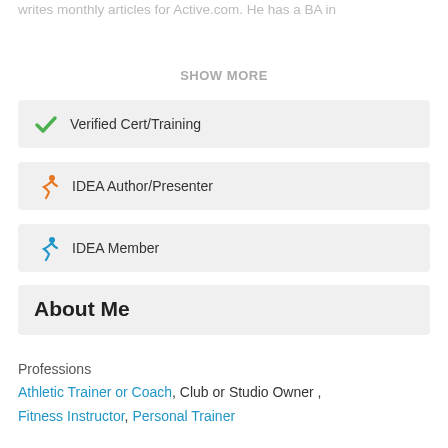writes monthly articles for Active.com. He has a BA in
SHOW MORE
Verified Cert/Training
IDEA Author/Presenter
IDEA Member
About Me
Professions
Athletic Trainer or Coach, Club or Studio Owner, Fitness Instructor, Personal Trainer
Activities
Body Leverage/Bodyweight Training, Circuit Training, Core Conditioning, Personal Training, Running, Stretching/Flexibility, Trail Running, TRX (Suspension Training)